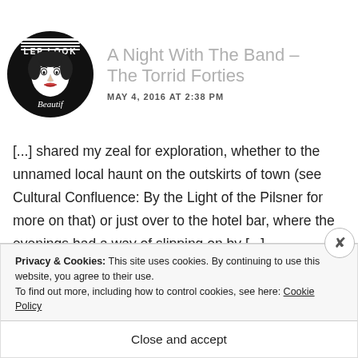[Figure (logo): Circular black and white logo with stylized retro woman illustration and text 'LEP LOOK' at top and 'Beautif' at bottom]
A Night With The Band – The Torrid Forties
MAY 4, 2016 AT 2:38 PM
[...] shared my zeal for exploration, whether to the unnamed local haunt on the outskirts of town (see Cultural Confluence: By the Light of the Pilsner for more on that) or just over to the hotel bar, where the evenings had a way of slipping on by [...]
Privacy & Cookies: This site uses cookies. By continuing to use this website, you agree to their use.
To find out more, including how to control cookies, see here: Cookie Policy
Close and accept